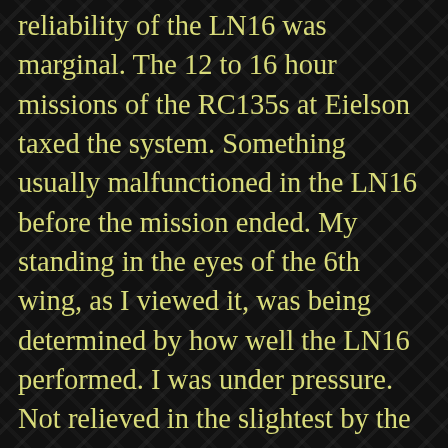reliability of the LN16 was marginal. The 12 to 16 hour missions of the RC135s at Eielson taxed the system. Something usually malfunctioned in the LN16 before the mission ended. My standing in the eyes of the 6th wing, as I viewed it, was being determined by how well the LN16 performed. I was under pressure. Not relieved in the slightest by the navigators who kept asking me in my training sessions whether I was going to have a Tinker Toy model like Larry Hart, my LN12 predecessor, used in demonstrating the principles of the inertial navigation. No I wasn't. Plus I sensed that the members of the 6th SW while affable and easy going were dedicated professionals. They